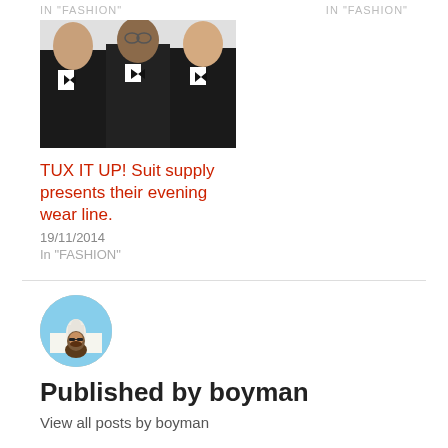In "FASHION"    In "FASHION"
[Figure (photo): Three men in black tuxedos with bow ties posing for a fashion photo]
TUX IT UP! Suit supply presents their evening wear line.
19/11/2014
In "FASHION"
[Figure (photo): Circular avatar photo of author boyman in front of Taj Mahal]
Published by boyman
View all posts by boyman